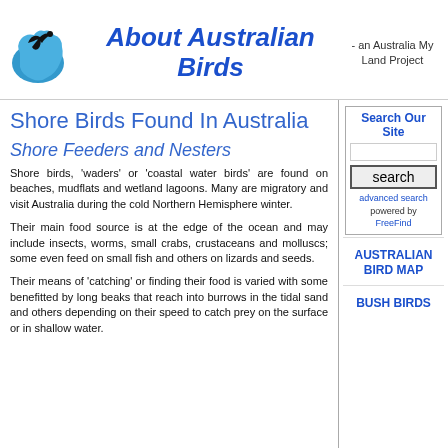[Figure (logo): About Australian Birds logo: blue map of Australia with a black bird silhouette]
About Australian Birds
- an Australia My Land Project
Shore Birds Found In Australia
Shore Feeders and Nesters
Shore birds, 'waders' or 'coastal water birds' are found on beaches, mudflats and wetland lagoons. Many are migratory and visit Australia during the cold Northern Hemisphere winter.
Their main food source is at the edge of the ocean and may include insects, worms, small crabs, crustaceans and molluscs; some even feed on small fish and others on lizards and seeds.
Their means of 'catching' or finding their food is varied with some benefitted by long beaks that reach into burrows in the tidal sand and others depending on their speed to catch prey on the surface or in shallow water.
Search Our Site
advanced search
powered by
FreeFind
AUSTRALIAN BIRD MAP
BUSH BIRDS